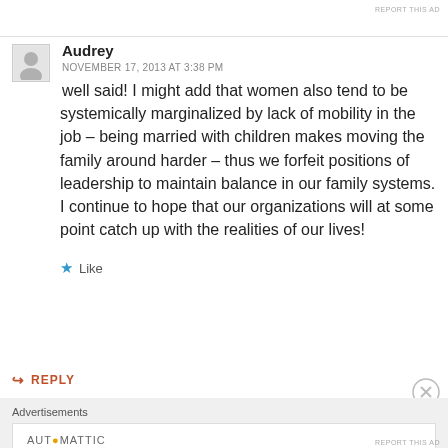REPORT THIS AD
Audrey
NOVEMBER 17, 2013 AT 3:38 PM
well said! I might add that women also tend to be systemically marginalized by lack of mobility in the job – being married with children makes moving the family around harder – thus we forfeit positions of leadership to maintain balance in our family systems. I continue to hope that our organizations will at some point catch up with the realities of our lives!
Like
REPLY
Advertisements
AUTOMATTIC
Build a better web and a better world.
REPORT THIS AD